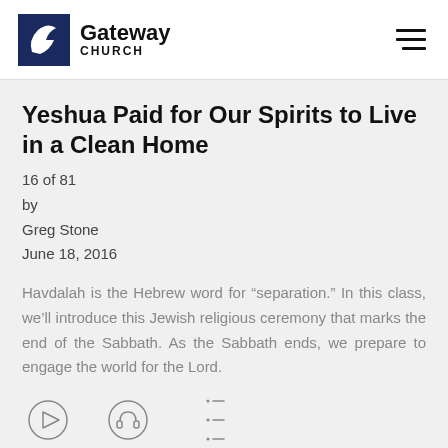Gateway Church
Yeshua Paid for Our Spirits to Live in a Clean Home
16 of 81
by
Greg Stone
June 18, 2016
Havdalah is the Hebrew word for “separation.” In this class, we’ll introduce this Jewish religious ceremony that marks the end of the Sabbath. As the Sabbath ends, we prepare to engage the world for the Lord.
[Figure (infographic): Three action icons: Watch (play button circle), Listen (headphones circle), Outline (list icon)]